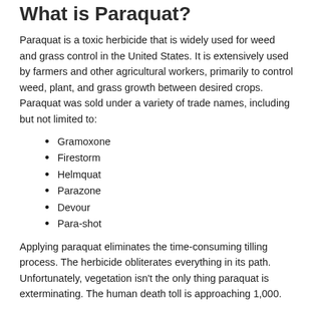What is Paraquat?
Paraquat is a toxic herbicide that is widely used for weed and grass control in the United States. It is extensively used by farmers and other agricultural workers, primarily to control weed, plant, and grass growth between desired crops. Paraquat was sold under a variety of trade names, including but not limited to:
Gramoxone
Firestorm
Helmquat
Parazone
Devour
Para-shot
Applying paraquat eliminates the time-consuming tilling process. The herbicide obliterates everything in its path. Unfortunately, vegetation isn't the only thing paraquat is exterminating. The human death toll is approaching 1,000.